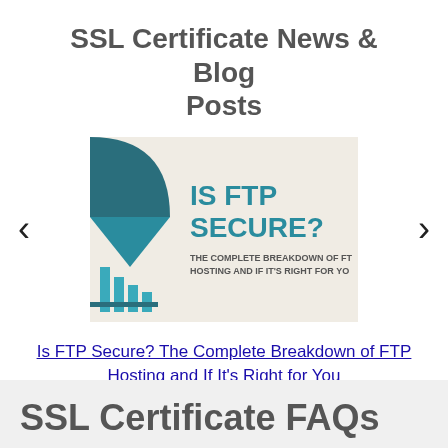SSL Certificate News & Blog Posts
[Figure (screenshot): Blog post thumbnail image for 'Is FTP Secure?' article showing teal geometric shapes and bold teal text on a beige background reading 'IS FTP SECURE? THE COMPLETE BREAKDOWN OF FTP HOSTING AND IF IT'S RIGHT FOR YOU', flanked by left and right carousel navigation arrows]
Is FTP Secure? The Complete Breakdown of FTP Hosting and If It's Right for You
SSL Certificate FAQs